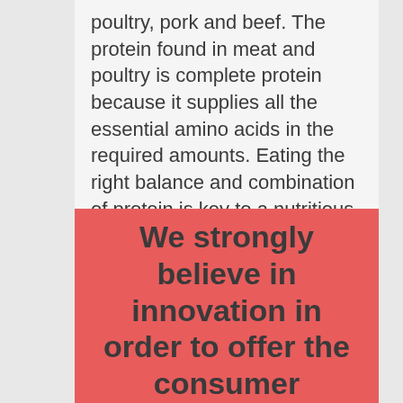poultry, pork and beef. The protein found in meat and poultry is complete protein because it supplies all the essential amino acids in the required amounts. Eating the right balance and combination of protein is key to a nutritious diet.
We strongly believe in innovation in order to offer the consumer